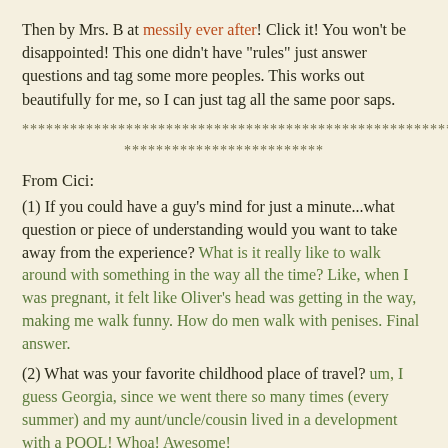Then by Mrs. B at messily ever after! Click it! You won't be disappointed! This one didn't have "rules" just answer questions and tag some more peoples. This works out beautifully for me, so I can just tag all the same poor saps.
************************************************************
*************************
From Cici:
(1) If you could have a guy's mind for just a minute...what question or piece of understanding would you want to take away from the experience? What is it really like to walk around with something in the way all the time? Like, when I was pregnant, it felt like Oliver's head was getting in the way, making me walk funny. How do men walk with penises. Final answer.
(2) What was your favorite childhood place of travel? um, I guess Georgia, since we went there so many times (every summer) and my aunt/uncle/cousin lived in a development with a POOL! Whoa! Awesome!